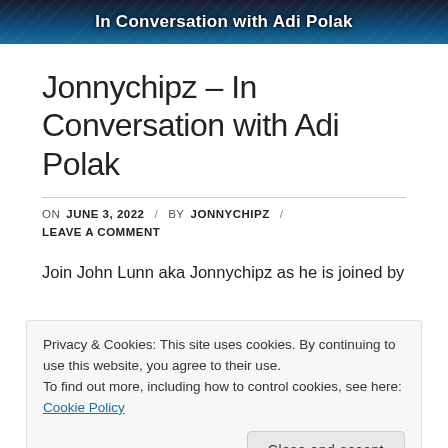In Conversation with Adi Polak
Jonnychipz – In Conversation with Adi Polak
ON JUNE 3, 2022 / BY JONNYCHIPZ / LEAVE A COMMENT
Join John Lunn aka Jonnychipz as he is joined by
Privacy & Cookies: This site uses cookies. By continuing to use this website, you agree to their use.
To find out more, including how to control cookies, see here: Cookie Policy
(www.twitch.tv/jonnychipz) my Twitter, LinkedIn